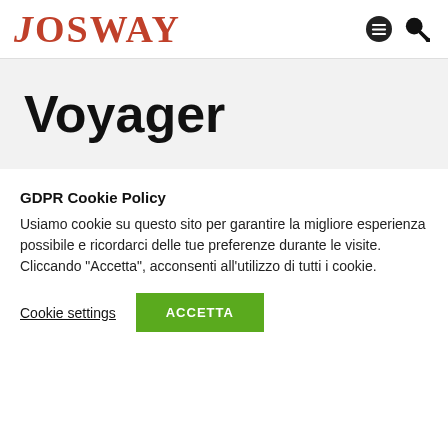JOSWAY
Voyager
GDPR Cookie Policy
Usiamo cookie su questo sito per garantire la migliore esperienza possibile e ricordarci delle tue preferenze durante le visite. Cliccando "Accetta", acconsenti all'utilizzo di tutti i cookie.
Cookie settings   ACCETTA